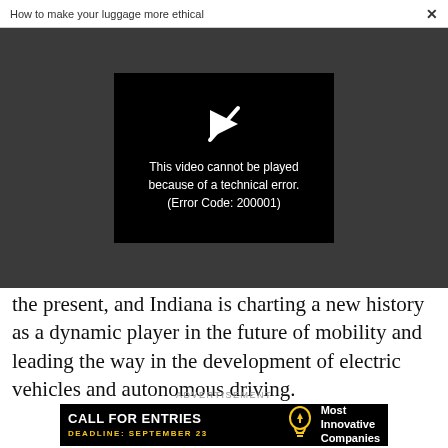How to make your luggage more ethical  ×
[Figure (screenshot): Video player showing error: a play button icon with a slash through it, and the message 'This video cannot be played because of a technical error. (Error Code: 200001)' on a black background, set against a dark grey video area.]
the present, and Indiana is charting a new history as a dynamic player in the future of mobility and leading the way in the development of electric vehicles and autonomous driving.
ADVERTISEMENT
[Figure (infographic): Black advertisement banner reading 'CALL FOR ENTRIES' in bold white, 'DEADLINE: SEPTEMBER 23' in yellow, with a yellow lightbulb icon and 'Most Innovative Companies' in white text on the right.]